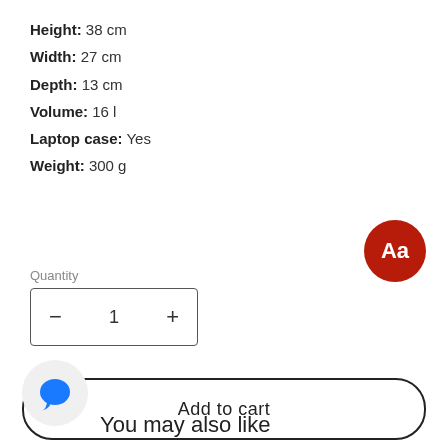Height: 38 cm
Width: 27 cm
Depth: 13 cm
Volume: 16 l
Laptop case: Yes
Weight: 300 g
[Figure (other): Dark red circular badge with white text 'Aa' representing a font/text style icon]
Quantity
[Figure (other): Quantity selector control with minus button, value '1', and plus button inside a rectangular border]
[Figure (other): Add to cart button — large pill-shaped outlined button with text 'Add to cart']
[Figure (other): Circular chat bubble icon button in light gray circle with blue speech bubble]
You may also like